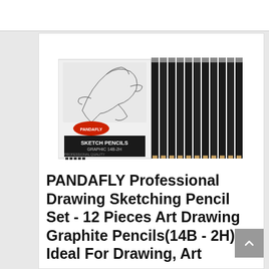BESTSELLER NO. 6
[Figure (photo): PANDAFLY Sketch Pencils product photo showing a box of graphite sketch pencils (14B-2H) alongside 12 black pencils fanned out.]
PANDAFLY Professional Drawing Sketching Pencil Set - 12 Pieces Art Drawing Graphite Pencils(14B - 2H), Ideal For Drawing, Art...